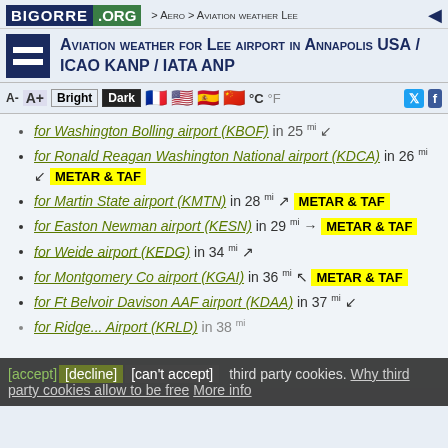BIGORRE .ORG > Aero > Aviation weather Lee
Aviation weather for Lee airport in Annapolis USA / ICAO KANP / IATA ANP
for Washington Bolling airport (KBOF) in 25 mi
for Ronald Reagan Washington National airport (KDCA) in 26 mi METAR & TAF
for Martin State airport (KMTN) in 28 mi METAR & TAF
for Easton Newman airport (KESN) in 29 mi METAR & TAF
for Weide airport (KEDG) in 34 mi
for Montgomery Co airport (KGAI) in 36 mi METAR & TAF
for Ft Belvoir Davison AAF airport (KDAA) in 37 mi
[accept] [decline] [can't accept] third party cookies. Why third party cookies allow to be free More info
for Ridge... Airport (KRLD) in 38 mi